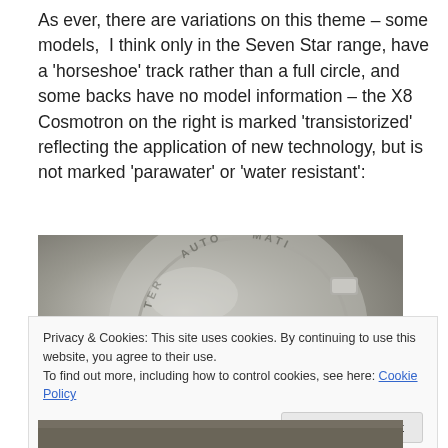As ever, there are variations on this theme – some models,  I think only in the Seven Star range, have a 'horseshoe' track rather than a full circle, and some backs have no model information – the X8 Cosmotron on the right is marked 'transistorized' reflecting the application of new technology, but is not marked 'parawater' or 'water resistant':
[Figure (photo): Close-up photograph of the back of a watch case showing engraved text reading 'WATER AUTOMATIC' in a circular pattern on a metallic silver/grey surface]
Privacy & Cookies: This site uses cookies. By continuing to use this website, you agree to their use.
To find out more, including how to control cookies, see here: Cookie Policy
[Figure (photo): Partial view of another watch or object at the bottom of the page]